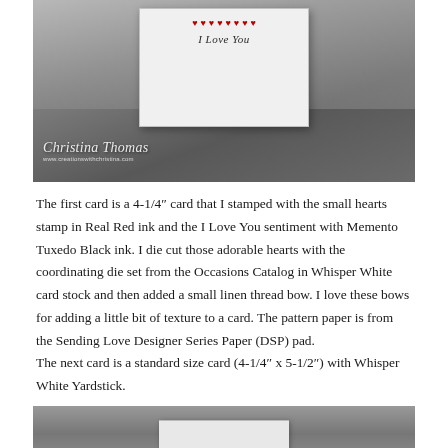[Figure (photo): Black and white photo of a handmade card on a wooden surface, showing hearts stamp in Real Red ink and 'I Love You' sentiment. Watermark reads 'Christina Thomas' and 'www.creationswithchristina.com']
The first card is a 4-1/4" card that I stamped with the small hearts stamp in Real Red ink and the I Love You sentiment with Memento Tuxedo Black ink. I die cut those adorable hearts with the coordinating die set from the Occasions Catalog in Whisper White card stock and then added a small linen thread bow. I love these bows for adding a little bit of texture to a card. The pattern paper is from the Sending Love Designer Series Paper (DSP) pad.
The next card is a standard size card (4-1/4" x 5-1/2") with Whisper White Yardstick.
[Figure (photo): Partial black and white photo at bottom of page showing another handmade card on a wooden surface]